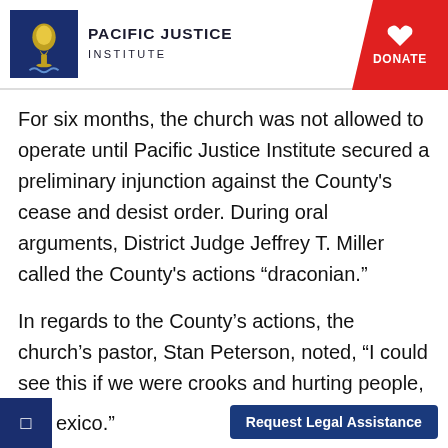Pacific Justice Institute
For six months, the church was not allowed to operate until Pacific Justice Institute secured a preliminary injunction against the County's cease and desist order. During oral arguments, District Judge Jeffrey T. Miller called the County's actions “draconian.”
In regards to the County’s actions, the church’s pastor, Stan Peterson, noted, “I could see this if we were crooks and hurting people, but we give to missionaries in Africa and …exico.”
Request Legal Assistance